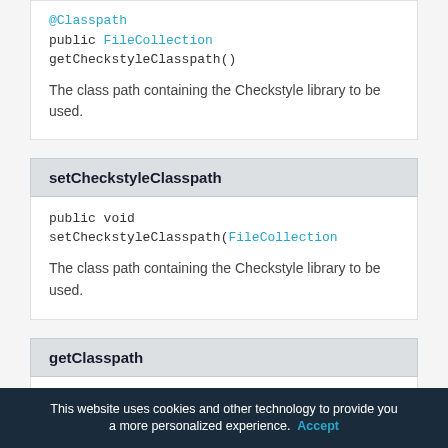@Classpath
public FileCollection getCheckstyleClasspath()

The class path containing the Checkstyle library to be used.
setCheckstyleClasspath
public void setCheckstyleClasspath(FileCollection

The class path containing the Checkstyle library to be used.
getClasspath
@Classpath
public FileCollection getClasspath()
This website uses cookies and other technology to provide you a more personalized experience. Accept